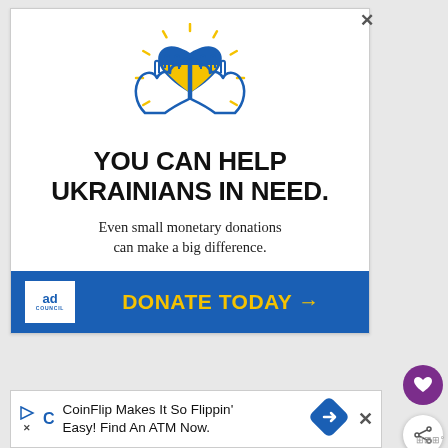[Figure (illustration): Ukraine donation advertisement banner with hands holding a blue and yellow heart, yellow sunburst rays, on white background. Text: YOU CAN HELP UKRAINIANS IN NEED. Even small monetary donations can make a big difference. Blue bar with DONATE TODAY arrow in yellow. Ad Council logo.]
[Figure (illustration): Bottom advertisement for CoinFlip ATM service with icons and blue diamond navigation logo.]
WHAT'S NEXT → Specunana Chocolate...